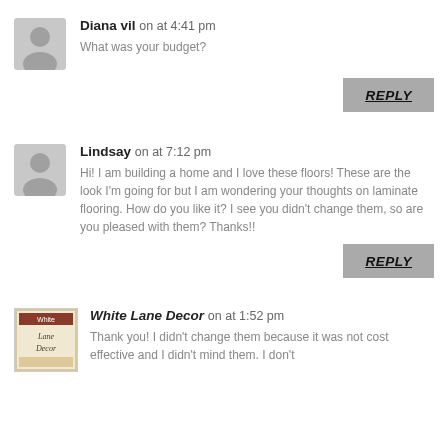Diana vil on at 4:41 pm
What was your budget?
REPLY
Lindsay on at 7:12 pm
Hi! I am building a home and I love these floors! These are the look I'm going for but I am wondering your thoughts on laminate flooring. How do you like it? I see you didn't change them, so are you pleased with them? Thanks!!
REPLY
White Lane Decor on at 1:52 pm
Thank you! I didn't change them because it was not cost effective and I didn't mind them. I don't